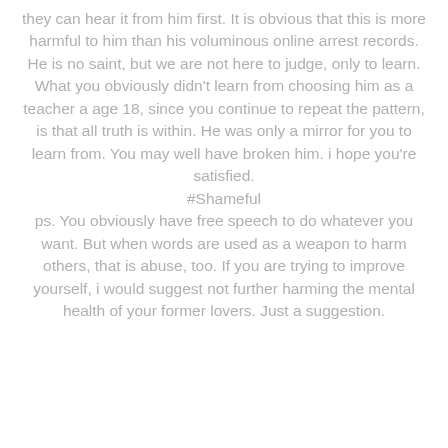they can hear it from him first. It is obvious that this is more harmful to him than his voluminous online arrest records. He is no saint, but we are not here to judge, only to learn. What you obviously didn't learn from choosing him as a teacher a age 18, since you continue to repeat the pattern, is that all truth is within. He was only a mirror for you to learn from. You may well have broken him. i hope you're satisfied. #Shameful ps. You obviously have free speech to do whatever you want. But when words are used as a weapon to harm others, that is abuse, too. If you are trying to improve yourself, i would suggest not further harming the mental health of your former lovers. Just a suggestion.